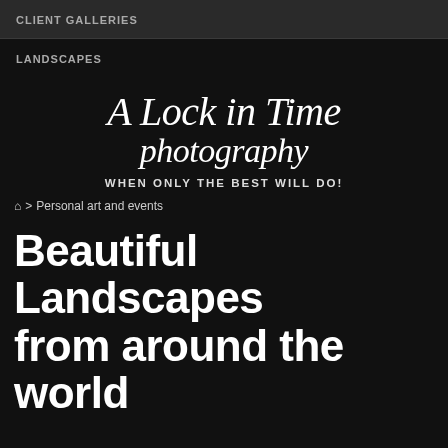CLIENT GALLERIES
LANDSCAPES
[Figure (logo): A Lock in Time Photography cursive script logo on dark background with tagline WHEN ONLY THE BEST WILL DO!]
🏠 > Personal art and events
Beautiful Landscapes from around the world